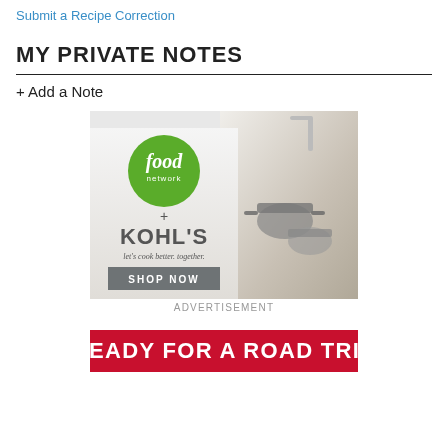Submit a Recipe Correction
MY PRIVATE NOTES
+ Add a Note
[Figure (illustration): Advertisement banner for Food Network + Kohl's collaboration. Left side shows Food Network logo (green circle with 'food network' text), plus sign, KOHL'S logo in bold gray text, tagline 'let's cook better. together.' and a gray 'SHOP NOW' button. Right side shows a photo of cookware pots on a gas stove in a bright kitchen.]
ADVERTISEMENT
[Figure (illustration): Red banner with bold white text reading 'READY FOR A ROAD TRIP']